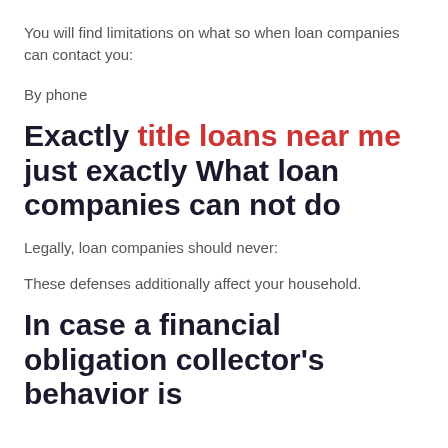You will find limitations on what so when loan companies can contact you:
By phone
Exactly title loans near me just exactly What loan companies can not do
Legally, loan companies should never:
These defenses additionally affect your household.
In case a financial obligation collector's behavior is